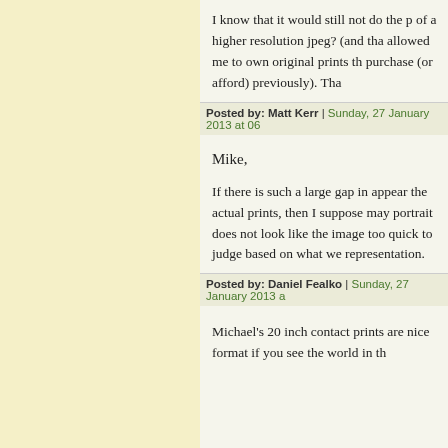I know that it would still not do the p of a higher resolution jpeg? (and tha allowed me to own original prints th purchase (or afford) previously). Tha
Posted by: Matt Kerr | Sunday, 27 January 2013 at 06
Mike,
If there is such a large gap in appear the actual prints, then I suppose may portrait does not look like the image too quick to judge based on what we representation.
Posted by: Daniel Fealko | Sunday, 27 January 2013 a
Michael's 20 inch contact prints are nice format if you see the world in th